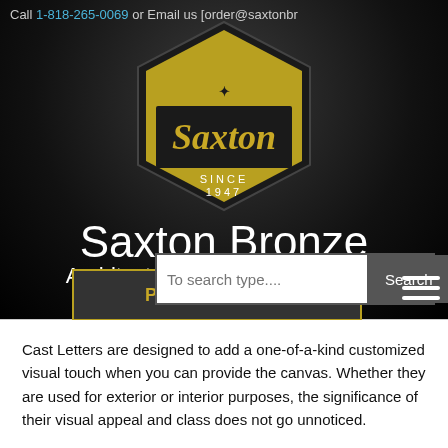Call 1-818-265-0069 or Email us [order@saxtonbr...
[Figure (logo): Saxton hexagon logo with gold background and 'Saxton' in old-English font, 'Since 1947' below]
Saxton Bronze
Architectural Signage Division of Saxton
To search type....
PRODUCTS ▼
Cast Letters are designed to add a one-of-a-kind customized visual touch when you can provide the canvas. Whether they are used for exterior or interior purposes, the significance of their visual appeal and class does not go unnoticed.